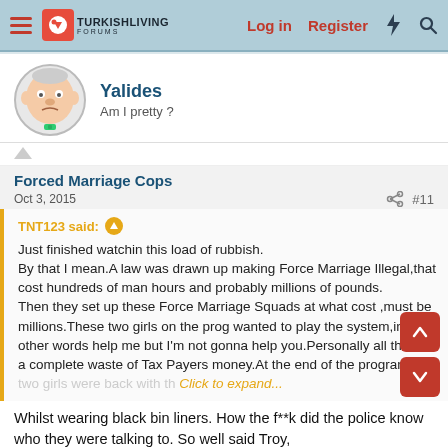TurkishLiving Forums — Log in | Register
[Figure (screenshot): User avatar: cartoon old man with bow tie]
Yalides
Am I pretty ?
Forced Marriage Cops
Oct 3, 2015     #11
TNT123 said: ↑

Just finished watchin this load of rubbish.
By that I mean.A law was drawn up making Force Marriage Illegal,that cost hundreds of man hours and probably millions of pounds.
Then they set up these Force Marriage Squads at what cost ,must be millions.These two girls on the prog wanted to play the system,in other words help me but I'm not gonna help you.Personally all this is a complete waste of Tax Payers money.At the end of the program the two girls were back with th... Click to expand...
Whilst wearing black bin liners. How the f**k did the police know who they were talking to. So well said Troy,